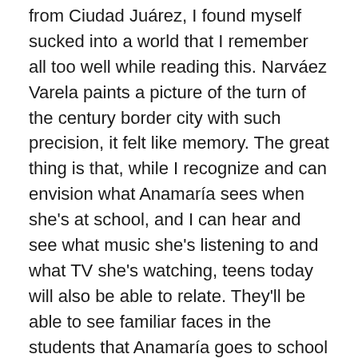from Ciudad Juárez, I found myself sucked into a world that I remember all too well while reading this. Narváez Varela paints a picture of the turn of the century border city with such precision, it felt like memory. The great thing is that, while I recognize and can envision what Anamaría sees when she's at school, and I can hear and see what music she's listening to and what TV she's watching, teens today will also be able to relate. They'll be able to see familiar faces in the students that Anamaría goes to school with, relate to her struggles with school and with her family, might recognize her grappling with mental illness threatening to take over her life, and might possibly understand what it's like to live in a reality where one's own life and well-being feels constantly threatened.
Violence against women is not a new social ill throughout the Americas, as is evident in this book. Centering the